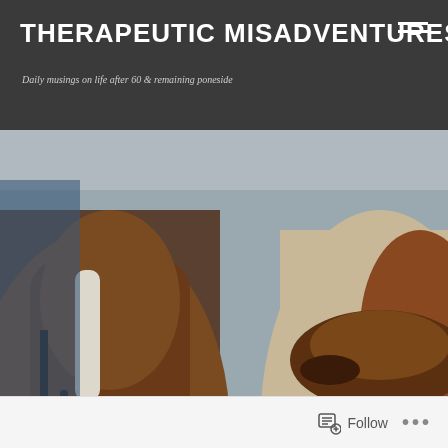THERAPEUTIC MISADVENTURES
Daily musings on life after 60 & remaining poneside
[Figure (photo): A young girl wearing a black riding helmet and white sweater with pink gloves holds the reins of a brown and white pinto pony with a saddle, standing in a stable yard. Text overlay reads 'December 25, 2013' and 'The Christmas Pony'.]
December 25, 2013
The Christmas Pony
Follow